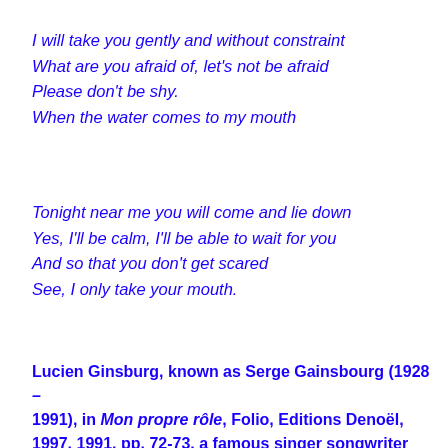I will take you gently and without constraint
What are you afraid of, let’s not be afraid
Please don’t be shy.
When the water comes to my mouth
Tonight near me you will come and lie down
Yes, I’ll be calm, I’ll be able to wait for you
And so that you don’t get scared
See, I only take your mouth.
Lucien Ginsburg, known as Serge Gainsbourg (1928 – 1991), in Mon propre rôle, Folio, Editions Denoël, 1997, 1991, pp. 72-73, a famous singer songwriter